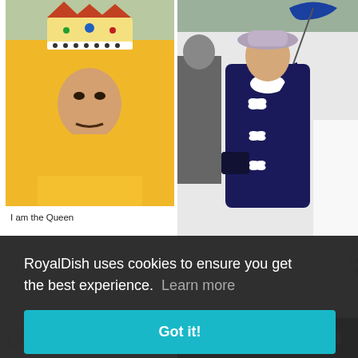[Figure (photo): Photo of a man wearing a large red and gold imperial crown, dressed in a yellow sweatshirt, sitting casually outdoors]
I am the Queen
[Figure (photo): Photo of a woman in a navy blue outfit with white bows and a grey hat, holding a blue umbrella, with people in the background]
RoyalDish uses cookies to ensure you get the best experience.  Learn more
[Figure (screenshot): Got it! button — teal/cyan colored button]
Logged
, 01:01:15
Offline